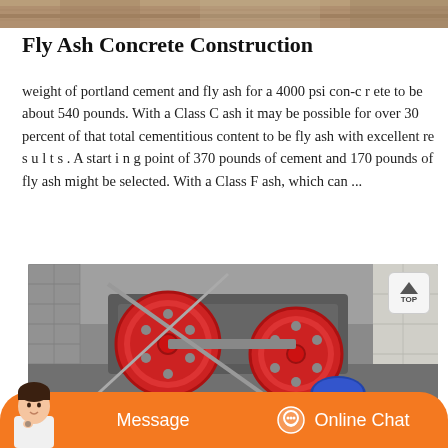[Figure (photo): Partial view of a sandy/soil construction site — top strip photo cropped at top of page]
Fly Ash Concrete Construction
weight of portland cement and fly ash for a 4000 psi con-c r ete to be about 540 pounds. With a Class C ash it may be possible for over 30 percent of that total cementitious content to be fly ash with excellent re s u l t s . A start i n g point of 370 pounds of cement and 170 pounds of fly ash might be selected. With a Class F ash, which can ...
[Figure (photo): Industrial machinery (jaw crusher or roller equipment) viewed from above in a concrete construction setting, with red circular wheel/flywheel visible and worker with blue helmet.]
Message   Online Chat